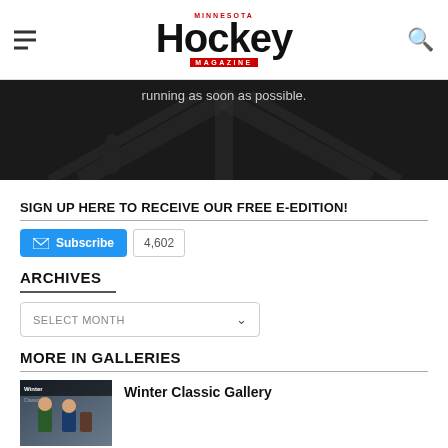MINNESOTA Hockey MAGAZINE
[Figure (photo): Dark arena/event background image with text 'running as soon as possible.']
SIGN UP HERE TO RECEIVE OUR FREE E-EDITION!
Subscribe 4,602
ARCHIVES
SELECT MONTH
MORE IN GALLERIES
Winter Classic Gallery